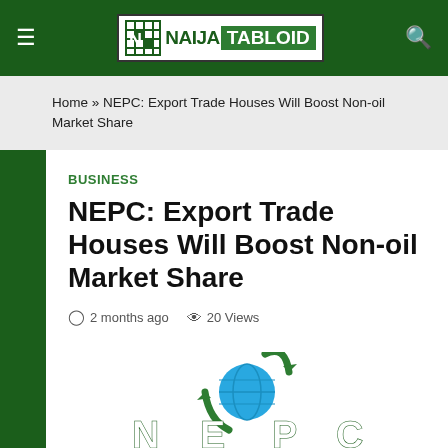NAIJA TABLOID
Home » NEPC: Export Trade Houses Will Boost Non-oil Market Share
BUSINESS
NEPC: Export Trade Houses Will Boost Non-oil Market Share
2 months ago   20 Views
[Figure (logo): NEPC logo with green circular arrows and globe, with letters N-E-P-C at the bottom]